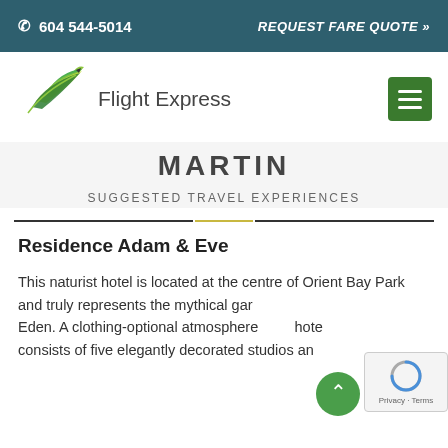📞  604 544-5014    REQUEST FARE QUOTE »
[Figure (logo): Flight Express logo with green swoosh/bird mark and text 'Flight Express']
MARTIN
SUGGESTED TRAVEL EXPERIENCES
Residence Adam & Eve
This naturist hotel is located at the centre of Orient Bay Park and truly represents the mythical garden of Eden. A clothing-optional atmosphere... hotel consists of five elegantly decorated studios and two